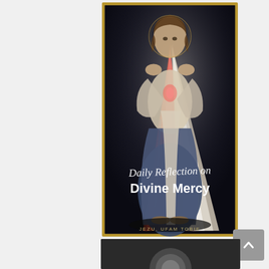[Figure (illustration): Book cover of 'Daily Reflection on Divine Mercy' featuring the Divine Mercy image of Jesus Christ with red and white rays emanating from his heart, on a dark background. The text 'Daily Reflection on' is written in white italic script and 'Divine Mercy' in bold white serif text. Below the image reads 'JEZU, UFAM TOBIE'. The cover has a gold border.]